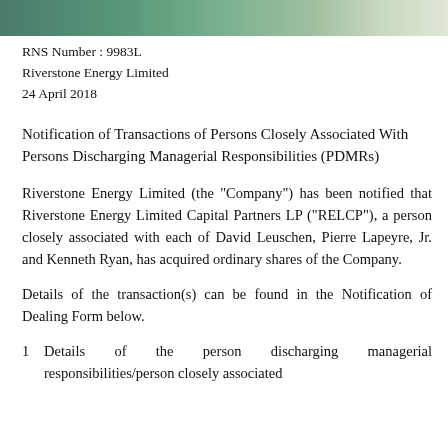[decorative image header]
RNS Number : 9983L
Riverstone Energy Limited
24 April 2018
Notification of Transactions of Persons Closely Associated With Persons Discharging Managerial Responsibilities (PDMRs)
Riverstone Energy Limited (the "Company") has been notified that Riverstone Energy Limited Capital Partners LP ("RELCP"), a person closely associated with each of David Leuschen, Pierre Lapeyre, Jr. and Kenneth Ryan, has acquired ordinary shares of the Company.
Details of the transaction(s) can be found in the Notification of Dealing Form below.
1   Details of the person discharging managerial responsibilities/person closely associated